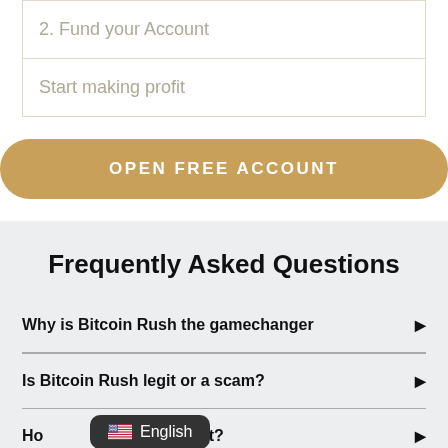2. Fund your Account
Start making profit
OPEN FREE ACCOUNT
Frequently Asked Questions
Why is Bitcoin Rush the gamechanger
Is Bitcoin Rush legit or a scam?
How much does New Spy cost?
English